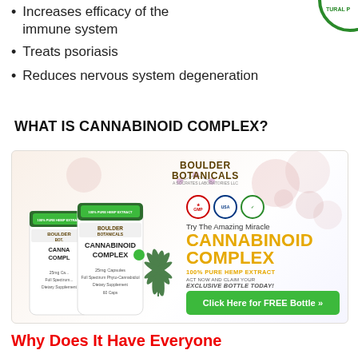Increases efficacy of the immune system
Treats psoriasis
Reduces nervous system degeneration
WHAT IS CANNABINOID COMPLEX?
[Figure (photo): Advertisement for Boulder Botanicals Cannabinoid Complex product. Shows two white supplement bottles labeled 'Cannabinoid Complex 25mg Capsules', hemp leaf, three trust badges, product name in yellow text reading 'CANNABINOID COMPLEX', '100% PURE HEMP EXTRACT', 'ACT NOW AND CLAIM YOUR EXCLUSIVE BOTTLE TODAY!', and a green button reading 'Click Here for FREE Bottle >>']
Why Does It Have Everyone